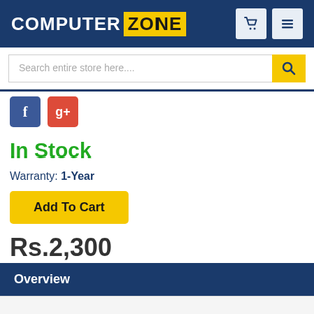[Figure (logo): Computer Zone logo — white text 'COMPUTER' and yellow box with black text 'ZONE' on dark blue header background]
[Figure (screenshot): Header icons: shopping cart and hamburger menu on light grey buttons]
[Figure (screenshot): Search bar with placeholder text 'Search entire store here....' and yellow search button with magnifier icon]
[Figure (screenshot): Facebook (blue) and Google+ (red) social share icons]
In Stock
Warranty: 1-Year
[Figure (screenshot): Yellow 'Add To Cart' button]
Rs.2,300
Overview